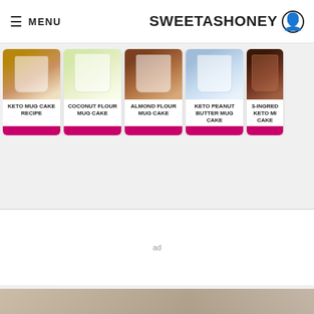≡ MENU   SWEETASHONEY  👤
[Figure (photo): Horizontal carousel of 5 mug cake recipe cards with food photos and pink buttons: KETO MUG CAKE RECIPE, COCONUT FLOUR MUG CAKE, ALMOND FLOUR MUG CAKE, KETO PEANUT BUTTER MUG CAKE, 3-INGRED KETO MI CAKE]
ad
ad
[Figure (photo): Bottom partial image strip]